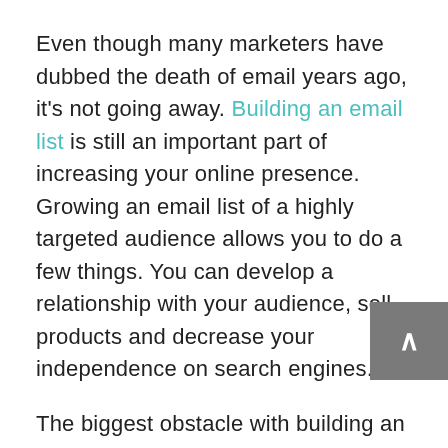Even though many marketers have dubbed the death of email years ago, it's not going away. Building an email list is still an important part of increasing your online presence. Growing an email list of a highly targeted audience allows you to do a few things. You can develop a relationship with your audience, sell products and decrease your independence on search engines.

The biggest obstacle with building an email list is getting people to subscribe. The first line of offense should be an